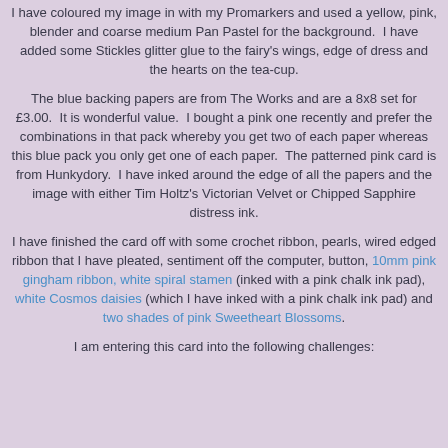I have coloured my image in with my Promarkers and used a yellow, pink, blender and coarse medium Pan Pastel for the background.  I have added some Stickles glitter glue to the fairy's wings, edge of dress and the hearts on the tea-cup.
The blue backing papers are from The Works and are a 8x8 set for £3.00.  It is wonderful value.  I bought a pink one recently and prefer the combinations in that pack whereby you get two of each paper whereas this blue pack you only get one of each paper.  The patterned pink card is from Hunkydory.  I have inked around the edge of all the papers and the image with either Tim Holtz's Victorian Velvet or Chipped Sapphire distress ink.
I have finished the card off with some crochet ribbon, pearls, wired edged ribbon that I have pleated, sentiment off the computer, button, 10mm pink gingham ribbon, white spiral stamen (inked with a pink chalk ink pad), white Cosmos daisies (which I have inked with a pink chalk ink pad) and two shades of pink Sweetheart Blossoms.
I am entering this card into the following challenges: